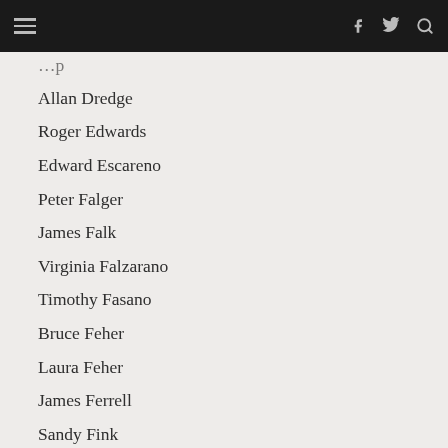[navigation bar with hamburger menu and social icons]
[partial name ending in ...p]
Allan Dredge
Roger Edwards
Edward Escareno
Peter Falger
James Falk
Virginia Falzarano
Timothy Fasano
Bruce Feher
Laura Feher
James Ferrell
Sandy Fink
Marcella Fish
George Fisher
John Fitzgibbon